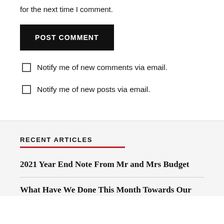for the next time I comment.
POST COMMENT
Notify me of new comments via email.
Notify me of new posts via email.
RECENT ARTICLES
2021 Year End Note From Mr and Mrs Budget
What Have We Done This Month Towards Our